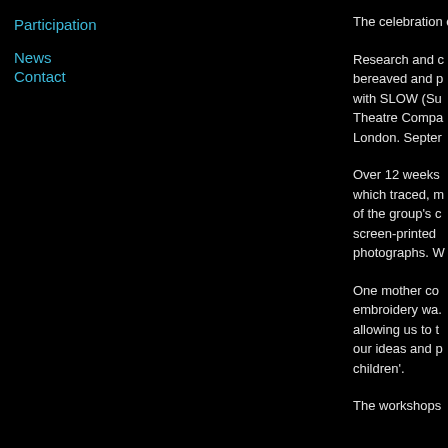Participation
News
Contact
The celebration conceived and
Research and c bereaved and p with SLOW (Su Theatre Compa London. Septer
Over 12 weeks which traced, m of the group's c screen-printed photographs. W
One mother co embroidery wa. allowing us to t our ideas and p children'.
The workshops